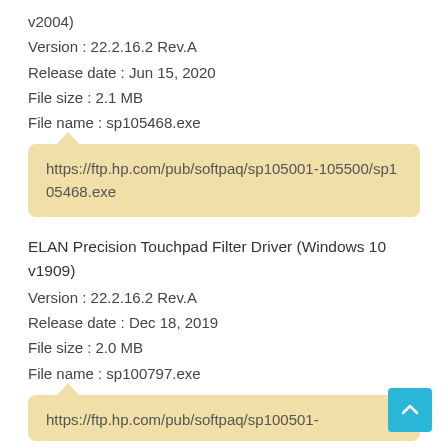v2004)
Version : 22.2.16.2 Rev.A
Release date : Jun 15, 2020
File size : 2.1 MB
File name : sp105468.exe
https://ftp.hp.com/pub/softpaq/sp105001-105500/sp105468.exe
ELAN Precision Touchpad Filter Driver (Windows 10 v1909)
Version : 22.2.16.2 Rev.A
Release date : Dec 18, 2019
File size : 2.0 MB
File name : sp100797.exe
https://ftp.hp.com/pub/softpaq/sp100501-